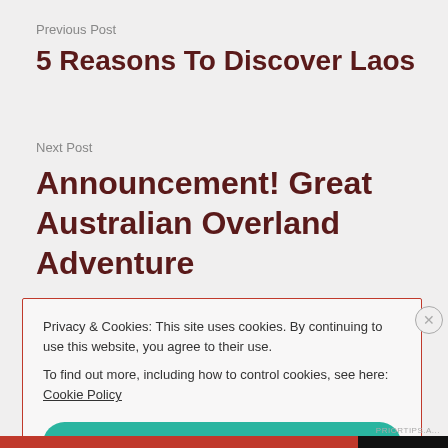Previous Post
5 Reasons To Discover Laos
Next Post
Announcement! Great Australian Overland Adventure
Privacy & Cookies: This site uses cookies. By continuing to use this website, you agree to their use.
To find out more, including how to control cookies, see here: Cookie Policy
Close and accept